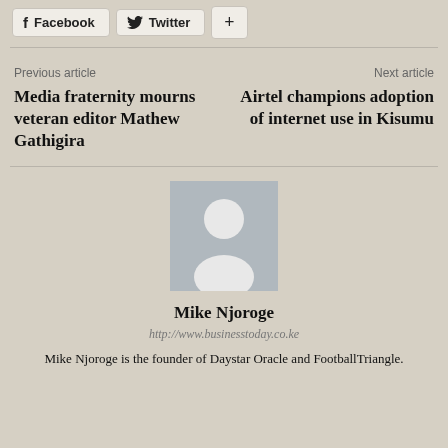[Figure (infographic): Social share buttons: Facebook, Twitter, and a plus button]
Previous article
Media fraternity mourns veteran editor Mathew Gathigira
Next article
Airtel champions adoption of internet use in Kisumu
[Figure (photo): Default avatar silhouette placeholder image for author Mike Njoroge]
Mike Njoroge
http://www.businesstoday.co.ke
Mike Njoroge is the founder of Daystar Oracle and FootballTriangle.